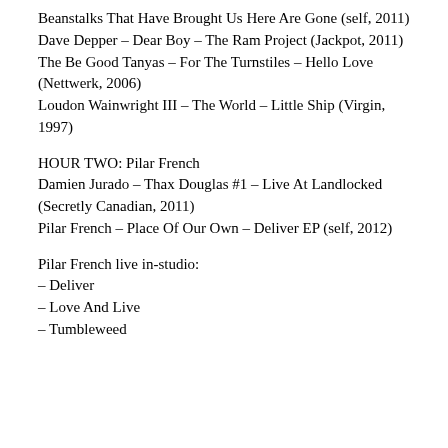Beanstalks That Have Brought Us Here Are Gone (self, 2011)
Dave Depper – Dear Boy – The Ram Project (Jackpot, 2011)
The Be Good Tanyas – For The Turnstiles – Hello Love (Nettwerk, 2006)
Loudon Wainwright III – The World – Little Ship (Virgin, 1997)
HOUR TWO: Pilar French
Damien Jurado – Thax Douglas #1 – Live At Landlocked (Secretly Canadian, 2011)
Pilar French – Place Of Our Own – Deliver EP (self, 2012)
Pilar French live in-studio:
– Deliver
– Love And Live
– Tumbleweed